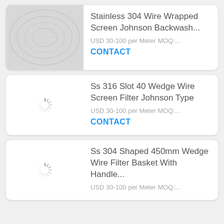[Figure (photo): Photo of stainless steel wire wrapped screen / Johnson backwash filter product, showing coiled metallic mesh in light grey tones]
Stainless 304 Wire Wrapped Screen Johnson Backwash...
USD 30-100 per Meter MOQ:...
CONTACT
[Figure (other): Loading spinner icon indicating image is loading]
Ss 316 Slot 40 Wedge Wire Screen Filter Johnson Type
USD 30-100 per Meter MOQ:...
CONTACT
[Figure (other): Loading spinner icon indicating image is loading]
Ss 304 Shaped 450mm Wedge Wire Filter Basket With Handle...
USD 30-100 per Meter MOQ:...